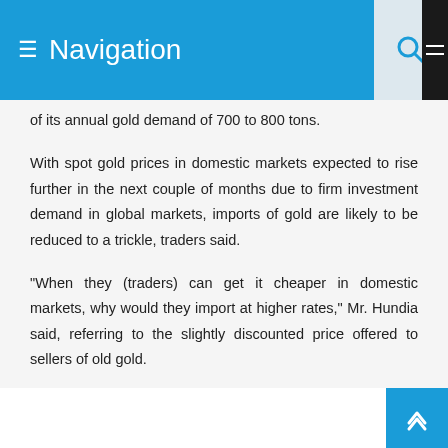Navigation
of its annual gold demand of 700 to 800 tons.
With spot gold prices in domestic markets expected to rise further in the next couple of months due to firm investment demand in global markets, imports of gold are likely to be reduced to a trickle, traders said.
"When they (traders) can get it cheaper in domestic markets, why would they import at higher rates," Mr. Hundia said, referring to the slightly discounted price offered to sellers of old gold.
"Around 90% of the jewelers are not purchasing gold from banks as consumers are selling their old jewelry and asking jewelers to remold it, instead of buying new